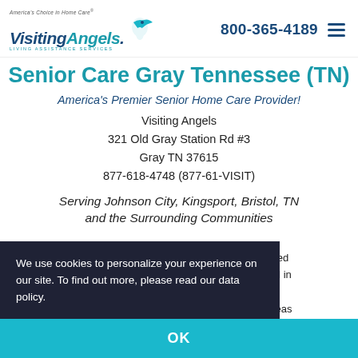America's Choice in Home Care - Visiting Angels - Living Assistance Services | 800-365-4189
Senior Care Gray Tennessee (TN)
America's Premier Senior Home Care Provider!
Visiting Angels
321 Old Gray Station Rd #3
Gray TN 37615
877-618-4748 (877-61-VISIT)
Serving Johnson City, Kingsport, Bristol, TN and the Surrounding Communities
Assisted
ocated in
the
ing areas
use we are
an essential personal home care services
We use cookies to personalize your experience on our site. To find out more, please read our data policy.
OK